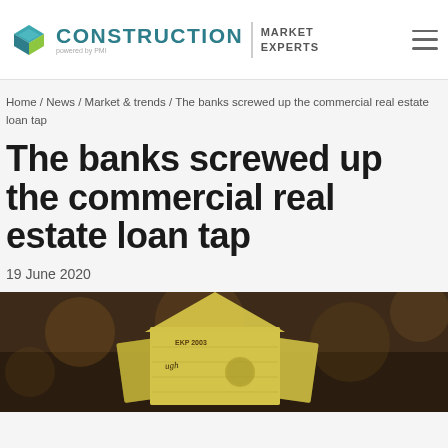CONSTRUCTION MARKET EXPERTS powered by PMI
Home / News / Market & trends / The banks screwed up the commercial real estate loan tap
The banks screwed up the commercial real estate loan tap
19 June 2020
[Figure (photo): Photo of Australian currency notes (yellow-green polymer notes) arranged in a house shape on a dark blurred background, with text EKP 2003 and a signature visible.]